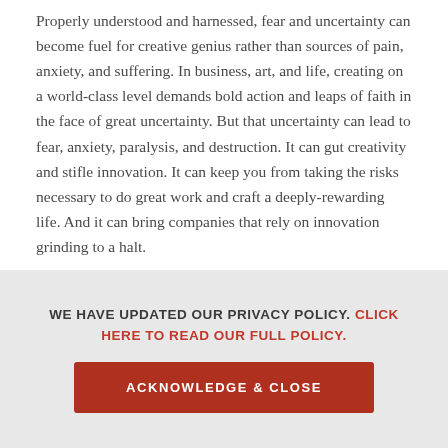Properly understood and harnessed, fear and uncertainty can become fuel for creative genius rather than sources of pain, anxiety, and suffering. In business, art, and life, creating on a world-class level demands bold action and leaps of faith in the face of great uncertainty. But that uncertainty can lead to fear, anxiety, paralysis, and destruction. It can gut creativity and stifle innovation. It can keep you from taking the risks necessary to do great work and craft a deeply-rewarding life. And it can bring companies that rely on innovation grinding to a halt.
That is, unless you know how to use it to your advantage. Fields draws on leading-edge technology, cognitive-
WE HAVE UPDATED OUR PRIVACY POLICY. CLICK HERE TO READ OUR FULL POLICY.
ACKNOWLEDGE & CLOSE